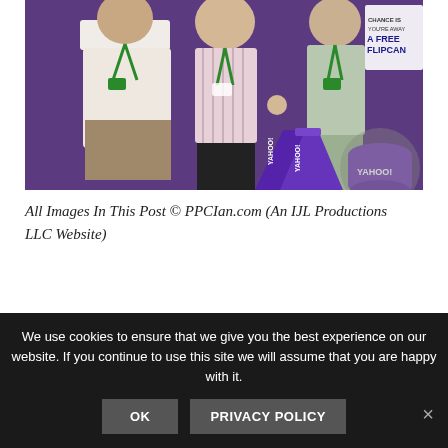[Figure (photo): Three people standing in front of a purple background at a conference/event. Two men and one woman, all wearing green lanyards/badges. Purple Yahoo-branded megaphones and a Yahoo-branded purple bucket are visible. A sign in the top right partially reads 'A FREE FLIPCAM'.]
All Images In This Post © PPCIan.com (An IJL Productions LLC Website)
We use cookies to ensure that we give you the best experience on our website. If you continue to use this site we will assume that you are happy with it.